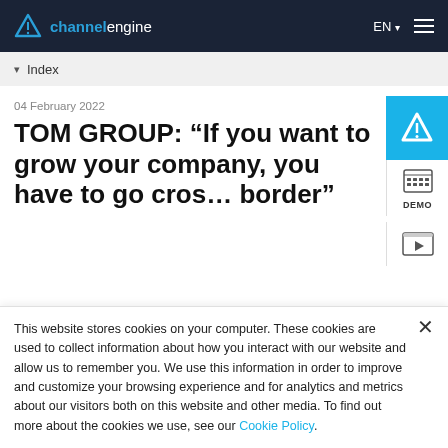channelengine  EN  ☰
▾  Index
04 February 2022
TOM GROUP: “If you want to grow your company, you have to go cross-border”
[Figure (logo): TOM TMP B.V. blue banner logo]
This website stores cookies on your computer. These cookies are used to collect information about how you interact with our website and allow us to remember you. We use this information in order to improve and customize your browsing experience and for analytics and metrics about our visitors both on this website and other media. To find out more about the cookies we use, see our Cookie Policy.